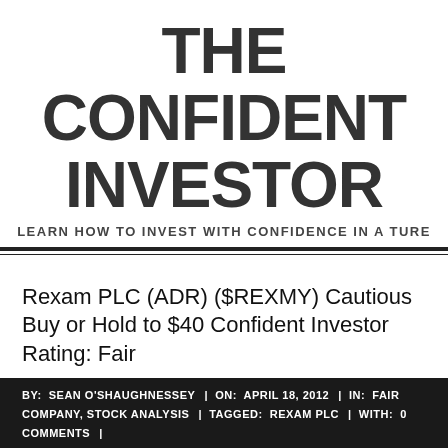THE CONFIDENT INVESTOR
LEARN HOW TO INVEST WITH CONFIDENCE IN A TURB
Rexam PLC (ADR) ($REXMY) Cautious Buy or Hold to $40 Confident Investor Rating: Fair
BY: SEAN O'SHAUGHNESSEY | ON: APRIL 18, 2012 | IN: FAIR COMPANY, STOCK ANALYSIS | TAGGED: REXAM PLC | WITH: 0 COMMENTS |
[Figure (photo): Small image placeholder thumbnail]